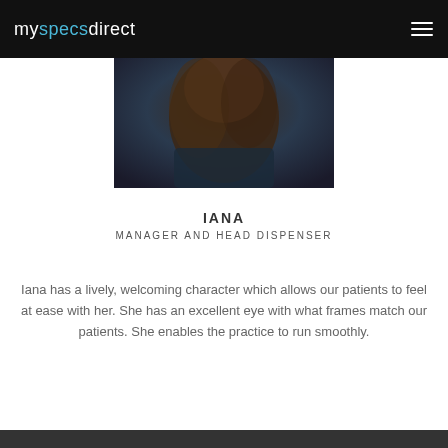myspecsdirect
[Figure (photo): Portrait photo of Iana, cropped showing hair and dark clothing against a dark background.]
IANA
MANAGER AND HEAD DISPENSER
Iana has a lively, welcoming character which allows our patients to feel at ease with her. She has an excellent eye with what frames match our patients. She enables the practice to run smoothly.